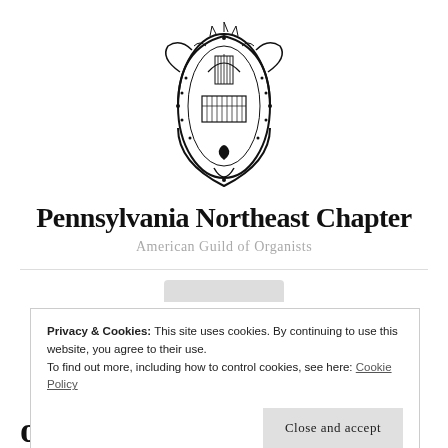[Figure (logo): American Guild of Organists ornate shield/crest emblem in black and white]
Pennsylvania Northeast Chapter
American Guild of Organists
Privacy & Cookies: This site uses cookies. By continuing to use this website, you agree to their use.
To find out more, including how to control cookies, see here: Cookie Policy
Close and accept
of an organ's life